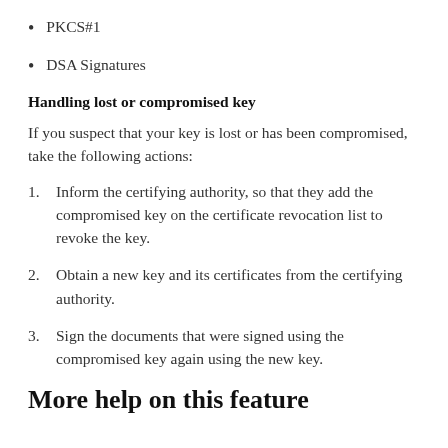PKCS#1
DSA Signatures
Handling lost or compromised key
If you suspect that your key is lost or has been compromised, take the following actions:
Inform the certifying authority, so that they add the compromised key on the certificate revocation list to revoke the key.
Obtain a new key and its certificates from the certifying authority.
Sign the documents that were signed using the compromised key again using the new key.
More help on this feature